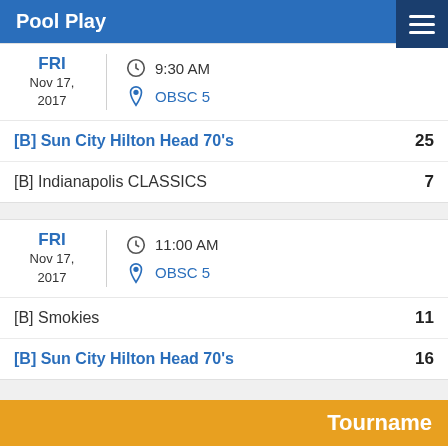Pool Play
FRI Nov 17, 2017 | 9:30 AM | OBSC 5
| Team | Score |
| --- | --- |
| [B] Sun City Hilton Head 70's | 25 |
| [B] Indianapolis CLASSICS | 7 |
FRI Nov 17, 2017 | 11:00 AM | OBSC 5
| Team | Score |
| --- | --- |
| [B] Smokies | 11 |
| [B] Sun City Hilton Head 70's | 16 |
Tourname (Tournament)
[A1] Lane Construction